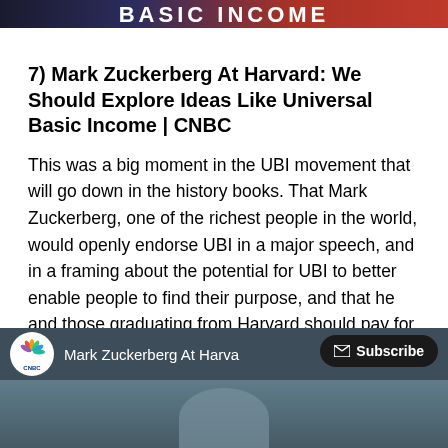[Figure (screenshot): Top banner with partial text 'BASIC INCOME' visible, showing a stylized header graphic]
7) Mark Zuckerberg At Harvard: We Should Explore Ideas Like Universal Basic Income | CNBC
This was a big moment in the UBI movement that will go down in the history books. That Mark Zuckerberg, one of the richest people in the world, would openly endorse UBI in a major speech, and in a framing about the potential for UBI to better enable people to find their purpose, and that he and those graduating from Harvard should pay for it, was a historic moment.
[Figure (screenshot): CNBC YouTube video thumbnail showing 'Mark Zuckerberg At Harva...' with CNBC peacock logo and a Subscribe button overlay]